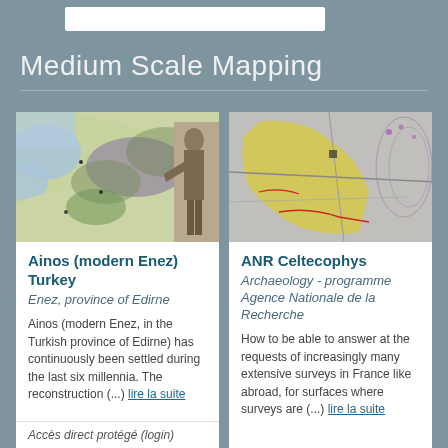Medium Scale Mapping
[Figure (photo): Map of Ainos/Enez region in Turkey with a bronze statue of a historical figure on the right]
Ainos (modern Enez) Turkey
Enez, province of Edirne
Ainos (modern Enez, in the Turkish province of Edirne) has continuously been settled during the last six millennia. The reconstruction (...) lire la suite
Accès direct protégé (login)
[Figure (photo): Aerial/satellite map view showing geological or archaeological survey area with yellow highlighted region]
ANR Celtecophys
Archaeology - programme Agence Nationale de la Recherche
How to be able to answer at the requests of increasingly many extensive surveys in France like abroad, for surfaces where surveys are (...) lire la suite